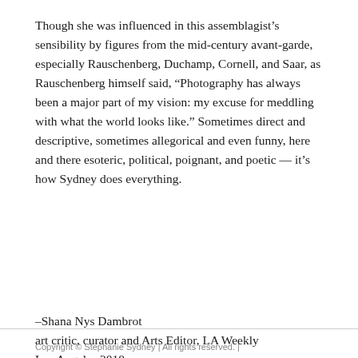Though she was influenced in this assemblagist's sensibility by figures from the mid-century avant-garde, especially Rauschenberg, Duchamp, Cornell, and Saar, as Rauschenberg himself said, “Photography has always been a major part of my vision: my excuse for meddling with what the world looks like.” Sometimes direct and descriptive, sometimes allegorical and even funny, here and there esoteric, political, poignant, and poetic — it's how Sydney does everything.
–Shana Nys Dambrot
art critic, curator and Arts Editor, LA Weekly
Los Angeles 2018
Copyright © Stephanie Sydney | All rights reserved. |